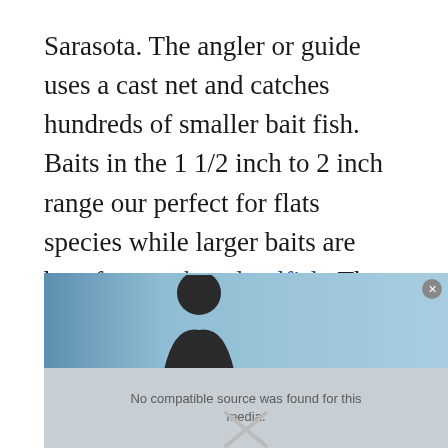Sarasota. The angler or guide uses a cast net and catches hundreds of smaller bait fish. Baits in the 1 1/2 inch to 2 inch range our perfect for flats species while larger baits are best for snook and redfish. There are some guides who basically only fish this way, but I am not one of them. I do fish using this technique when the bait is prevalent and easy to catch.
[Figure (screenshot): An embedded video player showing a person with a hat against a blue sky background. The player displays the message 'No compatible source was found for this media.' with a close button and an X symbol.]